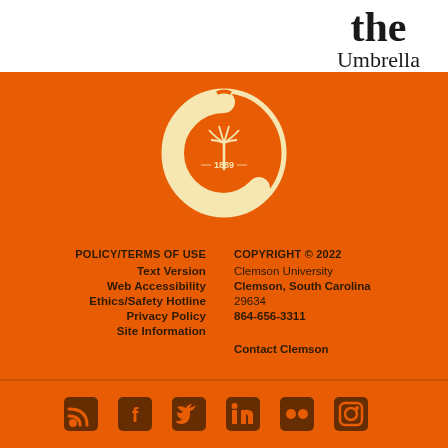the Umbrella
[Figure (logo): Clemson University seal/logo: cream colored large C with a palm tree and the year 1889 in the center, inside an oval ring, on orange background]
POLICY/TERMS OF USE
Text Version
Web Accessibility
Ethics/Safety Hotline
Privacy Policy
Site Information
COPYRIGHT © 2022
Clemson University
Clemson, South Carolina
29634
864-656-3311
Contact Clemson
[Figure (infographic): Social media icons row: RSS feed, Facebook, Twitter, LinkedIn, Flickr, Instagram]